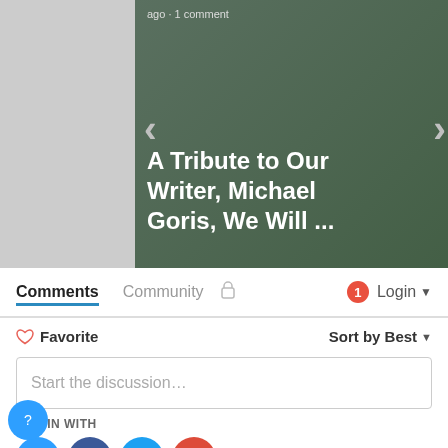[Figure (screenshot): Carousel card showing article titled 'A Tribute to Our Writer, Michael Goris, We Will ...' with metadata 'ago · 1 comment']
[Figure (screenshot): Carousel card (partially visible) showing article titled 'The ISC We Show Has G and Gone, S' with metadata '5 months ag']
Comments
Community
Login
Favorite
Sort by Best
Start the discussion…
LOG IN WITH
OR SIGN UP WITH DISQUS
Name